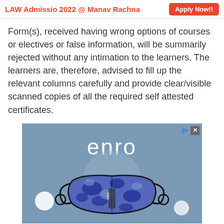LAW Admissio 2022 @ Manav Rachna  Apply Now!!
Form(s), received having wrong options of courses or electives or false information, will be summarily rejected without any intimation to the learners. The learners are, therefore, advised to fill up the relevant columns carefully and provide clear/visible scanned copies of all the required self attested certificates.
[Figure (illustration): Advertisement banner for 'enro' brand showing a blue camouflage-patterned face mask with ear loops against a steel-blue background. The word 'enro' is displayed in large white text above the mask. Small white circles appear on the left and right sides of the banner. Play and close buttons are visible in the top-right corner of the ad.]